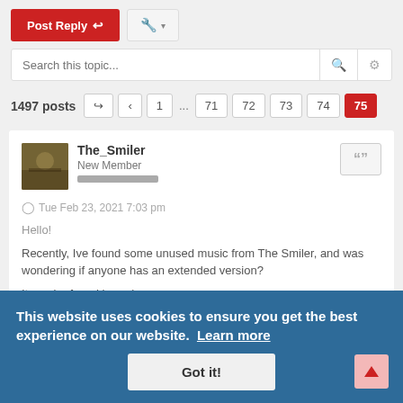[Figure (screenshot): Forum topic controls: Post Reply button (red), tool/wrench button with dropdown arrow, search bar with search icon and gear icon, pagination row showing 1497 posts with page buttons 1, ..., 71, 72, 73, 74, 75 (active), a post card with user The_Smiler (New Member), timestamp Tue Feb 23, 2021 7:03 pm, greeting Hello!, post body text about unused music from The Smiler, and a cookie consent banner overlay with Got it! button.]